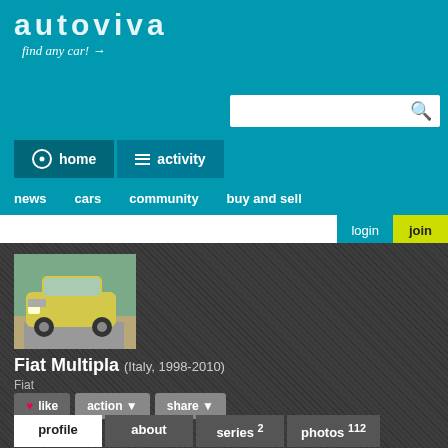autoviva — find any car!
[Figure (screenshot): Autoviva website header with logo, search bar, home and activity navigation buttons, and secondary nav links: news, cars, community, buy and sell, login, join]
[Figure (photo): Yellow Fiat Multipla car driving on a road]
Fiat Multipla (Italy, 1998-2010)
Fiat
like   action   share
| profile | about | series 2 | photos 112 |
| --- | --- | --- | --- |
| videos 0 | owners 2 |  |  |